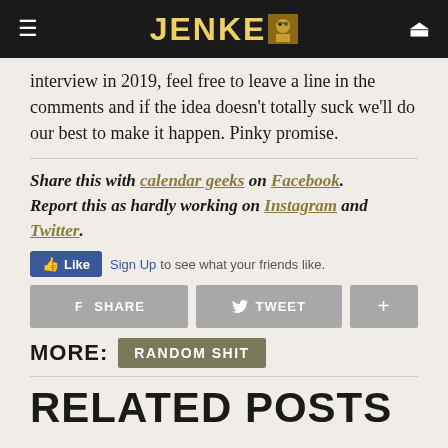JENKEM
interview in 2019, feel free to leave a line in the comments and if the idea doesn’t totally suck we’ll do our best to make it happen. Pinky promise.
Share this with calendar geeks on Facebook. Report this as hardly working on Instagram and Twitter.
[Figure (screenshot): Facebook Like button with Sign Up link]
[Figure (infographic): Social share buttons: Share, Tweet, plus]
MORE: RANDOM SHIT
RELATED POSTS